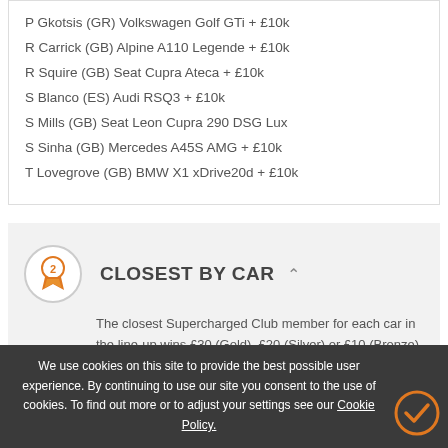P Gkotsis (GR) Volkswagen Golf GTi + £10k
R Carrick (GB) Alpine A110 Legende + £10k
R Squire (GB) Seat Cupra Ateca + £10k
S Blanco (ES) Audi RSQ3 + £10k
S Mills (GB) Seat Leon Cupra 290 DSG Lux
S Sinha (GB) Mercedes A45S AMG + £10k
T Lovegrove (GB) BMW X1 xDrive20d + £10k
CLOSEST BY CAR
The closest Supercharged Club member for each car in the line-up wins £30 (Gold), £20 (Silver) or £10 (Bronze) Dream Car Credit.
We use cookies on this site to provide the best possible user experience. By continuing to use our site you consent to the use of cookies. To find out more or to adjust your settings see our Cookie Policy.